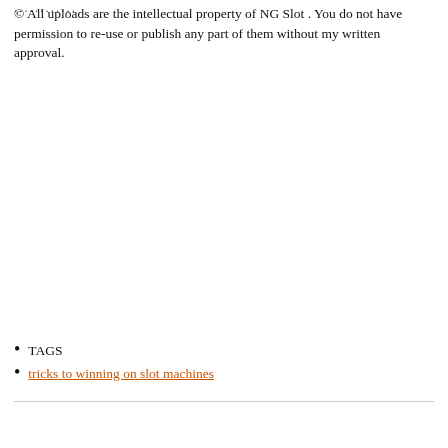© All uploads are the intellectual property of NG Slot . You do not have permission to re-use or publish any part of them without my written approval.
TAGS
tricks to winning on slot machines